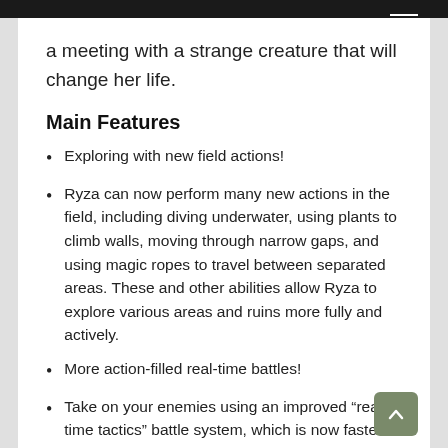a meeting with a strange creature that will change her life.
Main Features
Exploring with new field actions!
Ryza can now perform many new actions in the field, including diving underwater, using plants to climb walls, moving through narrow gaps, and using magic ropes to travel between separated areas. These and other abilities allow Ryza to explore various areas and ruins more fully and actively.
More action-filled real-time battles!
Take on your enemies using an improved “real-time tactics” battle system, which is now faster and more thrilling than ever. Speedily switch between characters, choose varied skills, and utilize items in just the right moments for best results.
Straightforward and easy-to-use synthesis!
Utilize and improve their items, including th